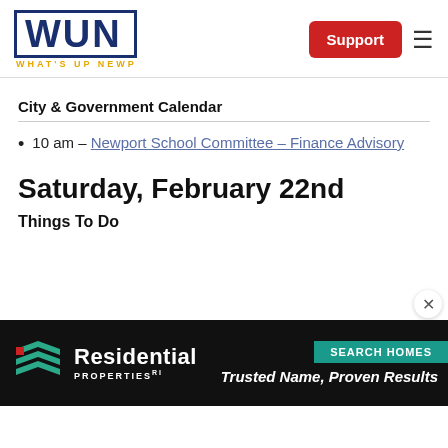WUN – WHAT'S UP NEWP | Support | Menu
City & Government Calendar
10 am – Newport School Committee – Finance Advisory
Saturday, February 22nd
Things To Do
[Figure (advertisement): Residential Properties Ltd ad banner – 'Trusted Name, Proven Results' with SEARCH HOMES tab]